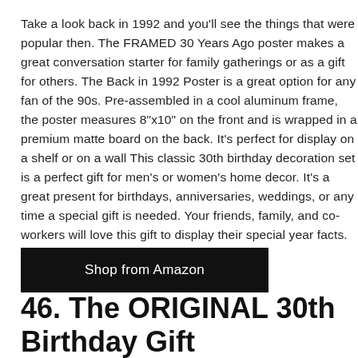Take a look back in 1992 and you'll see the things that were popular then. The FRAMED 30 Years Ago poster makes a great conversation starter for family gatherings or as a gift for others. The Back in 1992 Poster is a great option for any fan of the 90s. Pre-assembled in a cool aluminum frame, the poster measures 8"x10" on the front and is wrapped in a premium matte board on the back. It's perfect for display on a shelf or on a wall This classic 30th birthday decoration set is a perfect gift for men's or women's home decor. It's a great present for birthdays, anniversaries, weddings, or any time a special gift is needed. Your friends, family, and co-workers will love this gift to display their special year facts.
Shop from Amazon
46. The ORIGINAL 30th Birthday Gift